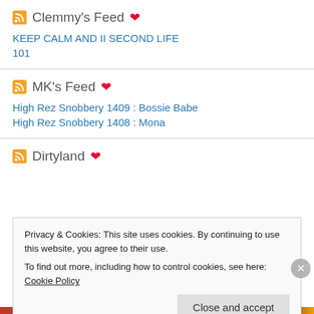Clemmy's Feed ❤
KEEP CALM AND II SECOND LIFE
101
MK's Feed ❤
High Rez Snobbery 1409 : Bossie Babe
High Rez Snobbery 1408 : Mona
Dirtyland ❤
Privacy & Cookies: This site uses cookies. By continuing to use this website, you agree to their use.
To find out more, including how to control cookies, see here: Cookie Policy
Close and accept